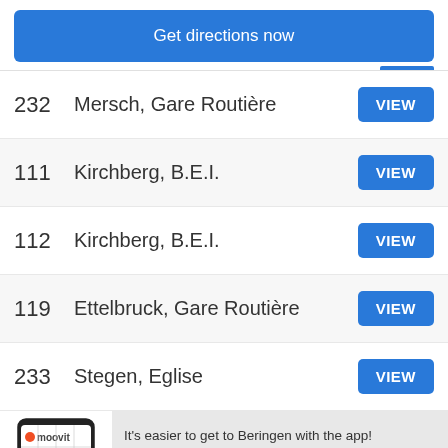Get directions now
232  Mersch, Gare Routière  VIEW
111  Kirchberg, B.E.I.  VIEW
112  Kirchberg, B.E.I.  VIEW
119  Ettelbruck, Gare Routière  VIEW
233  Stegen, Eglise  VIEW
[Figure (screenshot): Moovit app logo with phone illustration showing a map route]
It's easier to get to Beringen with the app!
Get the App